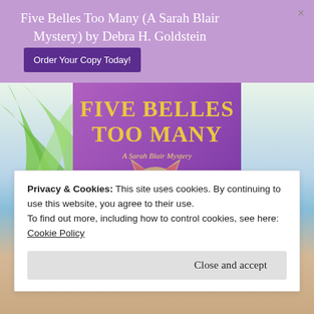Five Belles Too Many (A Sarah Blair Mystery) by Debra H. Goldstein
[Figure (screenshot): Purple button labeled 'Order Your Copy Today!']
[Figure (photo): Book cover for 'Five Belles Too Many: A Sarah Blair Mystery' featuring a Siamese cat with blue eyes on a purple background with the title in yellow text. Bottom shows 'Debra H.' text. Background scene includes palm leaves and a beach.]
Privacy & Cookies: This site uses cookies. By continuing to use this website, you agree to their use.
To find out more, including how to control cookies, see here:
Cookie Policy
Close and accept